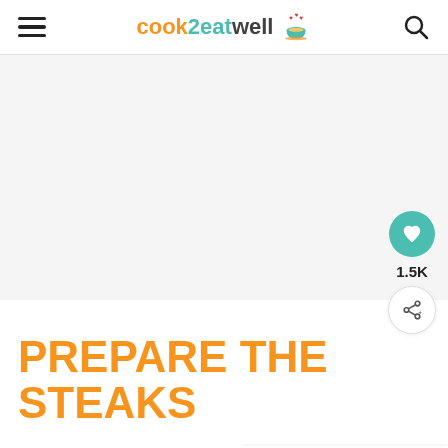cook2eatwell
[Figure (photo): Large image area showing food preparation, currently showing a light gray placeholder background]
PREPARE THE STEAKS
1.5K
WHAT'S NEXT → Bistec de Palomilla